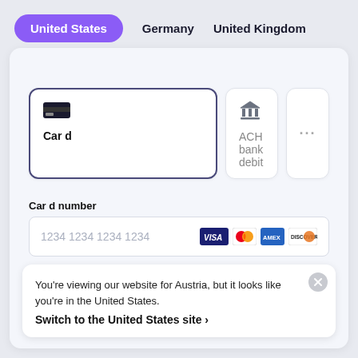United States
Germany
United Kingdom
[Figure (screenshot): Payment method selector with Card (selected) and ACH bank debit options]
Card number
1234 1234 1234 1234
Expiration date
MM/YY
Security code
CVV
You're viewing our website for Austria, but it looks like you're in the United States.
Switch to the United States site ›